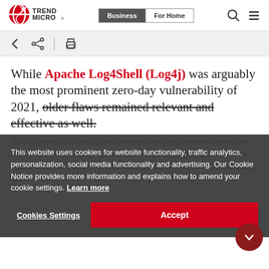[Figure (logo): Trend Micro logo — red circular icon with stylized globe and arrow, next to TREND MICRO wordmark in black]
[Figure (screenshot): Navigation bar with Business (active, dark background) and For Home tabs, plus search and hamburger menu icons]
[Figure (screenshot): Toolbar with back arrow, share icon, divider, and print icon on light grey background]
While Apache Log4Shell (Log4j) was arguably the most prominent zero-day vulnerability of 2021, older flaws remained relevant and effective as well.
Data gathered by Trend Micro Research shows that the most prevalent CVE observed (by this year's numbers) was the remote code exposure flaw in Microsoft's Remote Desktop Services (R... discovered in August 2019...
This website uses cookies for website functionality, traffic analytics, personalization, social media functionality and advertising. Our Cookie Notice provides more information and explains how to amend your cookie settings. Learn more